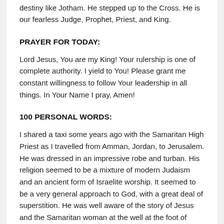destiny like Jotham. He stepped up to the Cross. He is our fearless Judge, Prophet, Priest, and King.
PRAYER FOR TODAY:
Lord Jesus, You are my King! Your rulership is one of complete authority. I yield to You! Please grant me constant willingness to follow Your leadership in all things. In Your Name I pray, Amen!
100 PERSONAL WORDS:
I shared a taxi some years ago with the Samaritan High Priest as I travelled from Amman, Jordan, to Jerusalem. He was dressed in an impressive robe and turban. His religion seemed to be a mixture of modern Judaism and an ancient form of Israelite worship. It seemed to be a very general approach to God, with a great deal of superstition. He was well aware of the story of Jesus and the Samaritan woman at the well at the foot of Mount Gerizim. This Samaritan High Priest, who lived in Jordan, was on his way to make the annual sacrifice on the top of Gerizim. How thankful I am for the final, once and for all